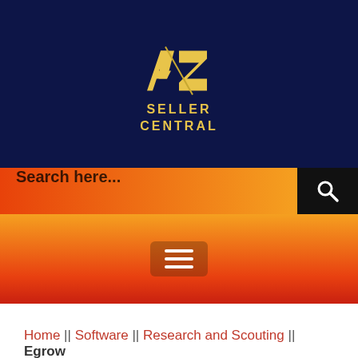[Figure (logo): A2Z Seller Central logo with stylized AZ letters in gold on dark navy background, with text SELLER CENTRAL below]
Search here...
[Figure (other): Navigation bar with hamburger menu icon (three horizontal lines) on orange-to-red gradient background]
Home || Software || Research and Scouting || Egrow